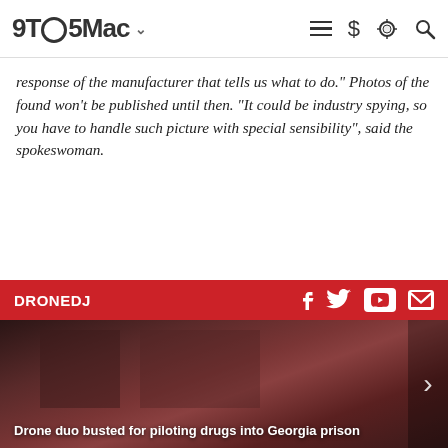9TO5Mac
response of the manufacturer that tells us what to do." Photos of the found won't be published until then. "It could be industry spying, so you have to handle such picture with special sensibility", said the spokeswoman.
EXPAND FULL STORY +
[Figure (screenshot): Hatched/diagonal stripe pattern divider section]
DRONEDJ
[Figure (photo): Dark reddish-toned interior image, likely a room or corridor]
Drone duo busted for piloting drugs into Georgia prison